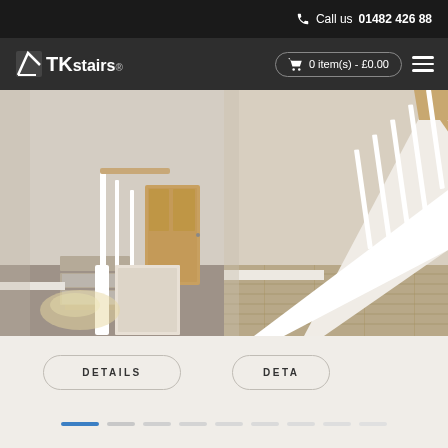Call us 01482 426388
TK stairs - 0 item(s) - £0.00
[Figure (photo): Left photo: Interior staircase with white painted spindles and wooden handrail, carpeted steps, door visible in background]
[Figure (photo): Right photo: Interior staircase with white banister and wooden handrail, wood laminate flooring visible below]
DETAILS
DETA